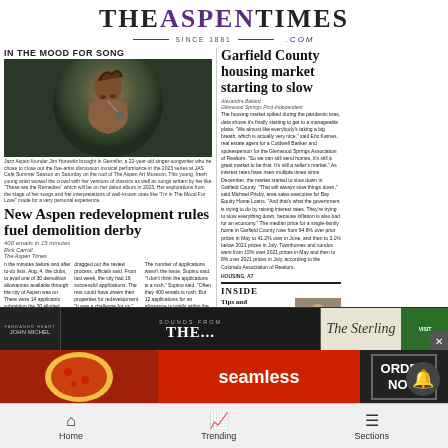THE ASPEN TIMES SINCE 1881 .COM
IN THE MOOD FOR SONG
[Figure (photo): Young woman singer performing, lit dramatically, looking upward with a microphone]
Jazz Aspen founder Jim Horowitz brought in Gennifer, a 22-year-old singer-songwriter who he chose to close out the five-artist discussion musical performance in the 2023 series at JAS Café Summer Season on Saturday on the roof of The Aspen Art Museum. This young, fresh young artist wowed the crowd with her versions of classics as well as songs written by her like 'These are the Remedies' which will be on her debut album in 2023. Her explorations from the stage of her songs and her interpretations of well-known ones like 'I'm in The Mood For Love' made for a very personal experience.
New Aspen redevelopment rules fuel demolition derby
400 emails in 15 minutes
Rick Carroll / The Aspen Times
In the minutes before and after to-do lists, Aug. 4, the clubs, to avail one of 30 demolition allowances available through the city of Aspen was on. There were 14 applicants submitting the 30 allotted allowances, and associated with the applications were more than 400 emails that came to the attention of the city's Community Development Department, according to department head Phillip Supino and senior planner Denver Farmen. The applications were accepted on a first-come, first-served basis; they also had to be complete to be considered. The sheer volume of emails, however,
dragged out the review process, officials said, from last week, the city had 19 successful applications. The rest could have drawn their properties for redevelopment. 'It was a challenge for us,' Supino said, 'sorting through emails that came in for 19 applications for a 30 allowance was a real obstacle to us reaching and each goal that we set for ourselves to be quick and responsive.' The applications came in between 8:47 a.m. and 1:48 p.m., according to Farmen. City staffers said unanswered applications were managed to deny or allowance. 'There was a lot of turbulence in the summer of the emails,' said Farmen. 'It was the same body of emails and different forms from different addresses.'
The number of applications wasn't the issue, Supino said. 'I don't think the applications is a rush,' Supino said. 'Often they 400 emails is rush. But 12 applications for an allowance is totally within the range of possibilities that we had identified when we were setting the process up. We didn't receive a rush of applications, we received a volume of emails that created an administrative obstruction for us.' The band on demolition permits passed unanimously as part of Aspen City Council's response to an eight-month ban on residential development in Aspen that ended Aug. 4. City Council members said the measures was an actual to rein in the pace of residential
DEMOLITION, A7
Garfield County housing market starting to slow
Alexandra Ballard / Glenwood Springs Post-Independent
The housing market spiked during the pandemic eras, data shows it's finally starting to get to a manageable place. 'We almost like everybody's taking a big breath, which is actually very nice,' said Eric Karnes, real estate agent for a Coldwell Banker and spokesperson for the Glenwood Springs Association of Realtors. 'So we can still send homes, it's still a great market to be that. It's still a seller's market.' As interest rates have risen multiple times since December, the market started to slow down in Garfield County. 'That will always slow things down,' said Michael Prisby, area sales executive for Bay Equity Home Loans. 'And that's what the government is trying to do by raising interest rates. They're trying to slow everything down, because inflation is also bad for an economy.' The median price for a single-family home in Garfield County rose from 94.8% over prior prices in May to 41.2% over in June, and then to 3.1% below 2021 prices in July. Townhomes and condos went from 15% over 2021 prices in May and then to 8% over 2021 prices in July, according to the Colorado Association of Realtors. Glenwood Springs median sales prices remained relatively flat, dropping only 0.5% from June to July for a home compared to 2021 prices in July. The Rio Blanco County town of Meeker experienced the biggest price drop in the region at 24.5% below 2021 prices. Carbondale's single-family home market ticked over with a median increase of 19% over 2021 prices and an average increase of 14.6% in the months of July. June was the big month for townhomes in Carbondale. 'Our downstream communities in the local market is once again Carbondale, where the median sale price for a single family home was up 29% over last June in
HOUSING, A7
INSIDE
Tips and downs
Carbondale resident and cook Chris Brooks looks to his Summer record. See Page A14
[Figure (photo): Person cooking in kitchen, indoor photo]
SOUNDS FROM THE...
seamless
ORDER NOW
Home   Trending   Sections